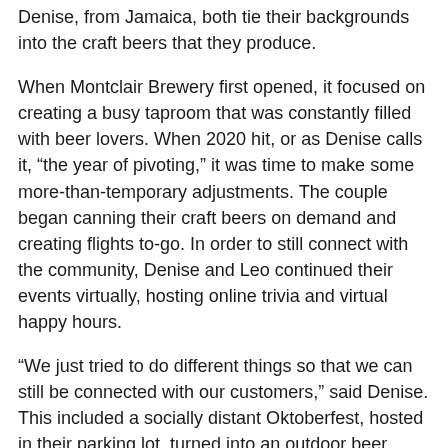Denise, from Jamaica, both tie their backgrounds into the craft beers that they produce.
When Montclair Brewery first opened, it focused on creating a busy taproom that was constantly filled with beer lovers. When 2020 hit, or as Denise calls it, “the year of pivoting,” it was time to make some more-than-temporary adjustments. The couple began canning their craft beers on demand and creating flights to-go. In order to still connect with the community, Denise and Leo continued their events virtually, hosting online trivia and virtual happy hours.
“We just tried to do different things so that we can still be connected with our customers,” said Denise. This included a socially distant Oktoberfest, hosted in their parking lot, turned into an outdoor beer garden. With space between tables, live music, and lots of beer, Denise and Leo were able to safely continue what they hope will be a long tradition.